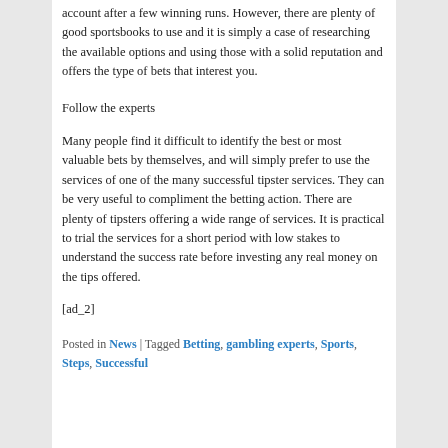account after a few winning runs. However, there are plenty of good sportsbooks to use and it is simply a case of researching the available options and using those with a solid reputation and offers the type of bets that interest you.
Follow the experts
Many people find it difficult to identify the best or most valuable bets by themselves, and will simply prefer to use the services of one of the many successful tipster services. They can be very useful to compliment the betting action. There are plenty of tipsters offering a wide range of services. It is practical to trial the services for a short period with low stakes to understand the success rate before investing any real money on the tips offered.
[ad_2]
Posted in News | Tagged Betting, gambling experts, Sports, Steps, Successful